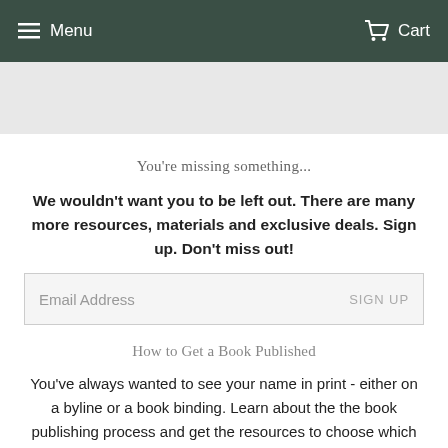Menu  Cart
You're missing something...
We wouldn't want you to be left out. There are many more resources, materials and exclusive deals. Sign up. Don't miss out!
Email Address  SIGN UP
How to Get a Book Published
You've always wanted to see your name in print - either on a byline or a book binding. Learn about the the book publishing process and get the resources to choose which publishing option fits your work best: traditional publishing or self-publishing.